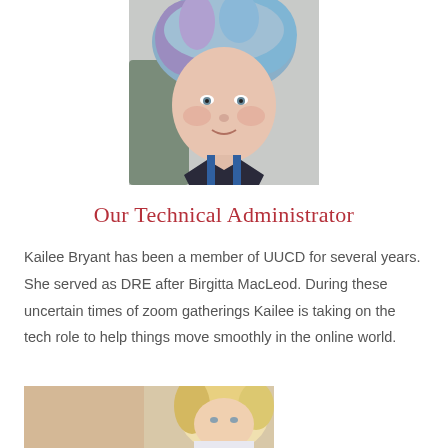[Figure (photo): Portrait photo of Kailee Bryant with blue-purple short hair]
Our Technical Administrator
Kailee Bryant has been a member of UUCD for several years. She served as DRE after Birgitta MacLeod. During these uncertain times of zoom gatherings Kailee is taking on the tech role to help things move smoothly in the online world.
[Figure (photo): Partial photo of another person with blonde hair, partially cropped at bottom of page]